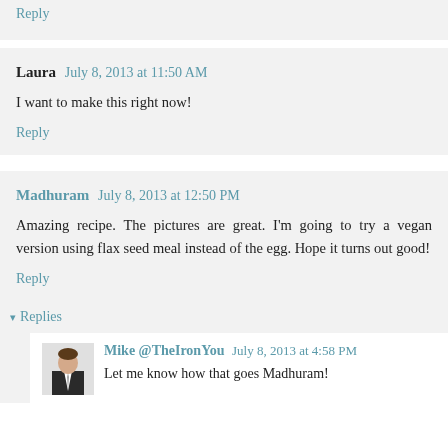Reply
Laura  July 8, 2013 at 11:50 AM
I want to make this right now!
Reply
Madhuram  July 8, 2013 at 12:50 PM
Amazing recipe. The pictures are great. I'm going to try a vegan version using flax seed meal instead of the egg. Hope it turns out good!
Reply
▾ Replies
Mike @TheIronYou  July 8, 2013 at 4:58 PM
Let me know how that goes Madhuram!